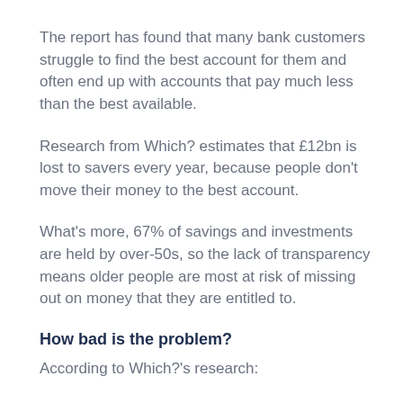The report has found that many bank customers struggle to find the best account for them and often end up with accounts that pay much less than the best available.
Research from Which? estimates that £12bn is lost to savers every year, because people don't move their money to the best account.
What's more, 67% of savings and investments are held by over-50s, so the lack of transparency means older people are most at risk of missing out on money that they are entitled to.
How bad is the problem?
According to Which?'s research: